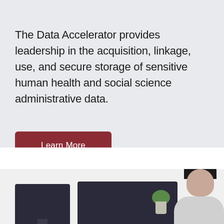The Data Accelerator provides leadership in the acquisition, linkage, use, and secure storage of sensitive human health and social science administrative data.
[Figure (other): A dark red/maroon rectangular button labeled 'Learn More']
[Figure (photo): A person with dark hair sitting at a desk with two computer monitors. A small green plant is visible in the background. The setting appears to be an office or home office environment.]